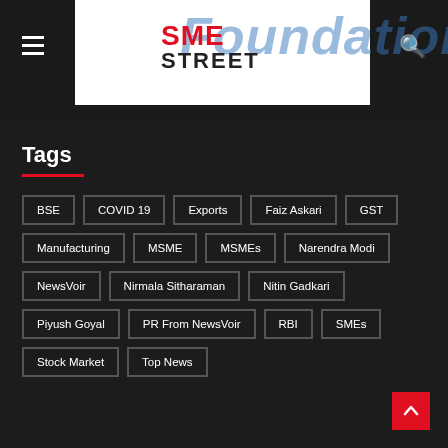SME STREET
Tags
BSE
COVID 19
Exports
Faiz Askari
GST
Manufacturing
MSME
MSMEs
Narendra Modi
NewsVoir
Nirmala Sitharaman
Nitin Gadkari
Piyush Goyal
PR From NewsVoir
RBI
SMEs
Stock Market
Top News